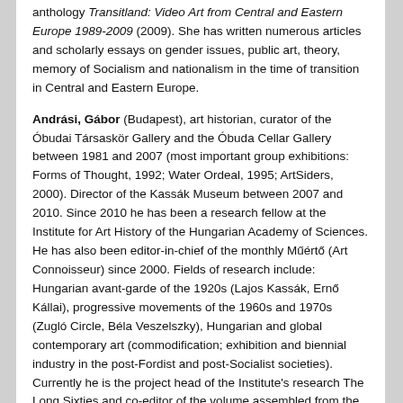anthology Transitland: Video Art from Central and Eastern Europe 1989-2009 (2009). She has written numerous articles and scholarly essays on gender issues, public art, theory, memory of Socialism and nationalism in the time of transition in Central and Eastern Europe.
Andrási, Gábor (Budapest), art historian, curator of the Óbudai Társaskör Gallery and the Óbuda Cellar Gallery between 1981 and 2007 (most important group exhibitions: Forms of Thought, 1992; Water Ordeal, 1995; ArtSiders, 2000). Director of the Kassák Museum between 2007 and 2010. Since 2010 he has been a research fellow at the Institute for Art History of the Hungarian Academy of Sciences. He has also been editor-in-chief of the monthly Műértő (Art Connoisseur) since 2000. Fields of research include: Hungarian avant-garde of the 1920s (Lajos Kassák, Ernő Kállai), progressive movements of the 1960s and 1970s (Zugló Circle, Béla Veszelszky), Hungarian and global contemporary art (commodification; exhibition and biennial industry in the post-Fordist and post-Socialist societies). Currently he is the project head of the Institute's research The Long Sixties and co-editor of the volume assembled from the bequest of Ottó Mezei, art historian.